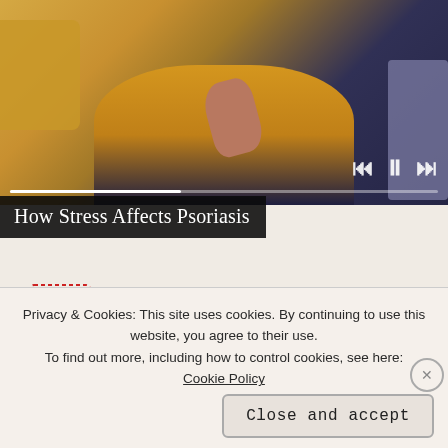[Figure (screenshot): Video thumbnail showing a person in a yellow sweater holding a TV remote. Includes playback controls (skip back, pause, skip forward) and a progress bar at the bottom of the video area.]
How Stress Affects Psoriasis
[Figure (logo): Picture Mushroom app logo — red mushroom icon with a dotted red square border, representing a plant/mushroom identification app.]
sponsored by
Picture Mushroom
Privacy & Cookies: This site uses cookies. By continuing to use this website, you agree to their use.
To find out more, including how to control cookies, see here:
Cookie Policy
Close and accept